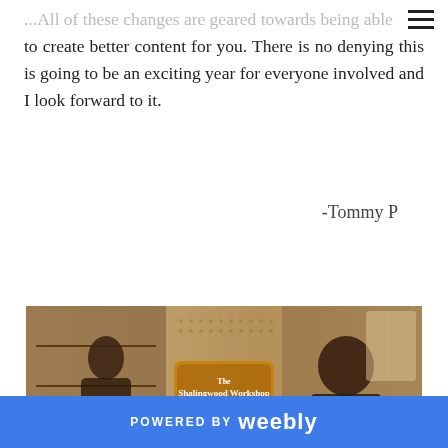☰ (hamburger menu icon)
...All of these changes are geared towards being able to create better content for you. There is no denying this is going to be an exciting year for everyone involved and I look forward to it.
-Tommy P
[Figure (photo): Sepia-toned banner image showing two men working in a woodworking workshop, with a wooden sign reading 'The Shalingwood Workshop' in the center.]
POWERED BY weebly